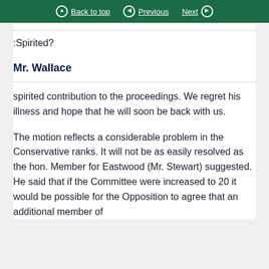Back to top   Previous   Next
:Spirited?
Mr. Wallace
spirited contribution to the proceedings. We regret his illness and hope that he will soon be back with us.
The motion reflects a considerable problem in the Conservative ranks. It will not be as easily resolved as the hon. Member for Eastwood (Mr. Stewart) suggested. He said that if the Committee were increased to 20 it would be possible for the Opposition to agree that an additional member of